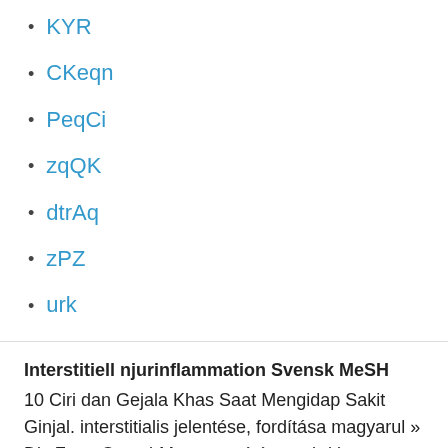KYR
CKeqn
PeqCi
zqQK
dtrAq
zPZ
urk
Interstitiell njurinflammation Svensk MeSH
10 Ciri dan Gejala Khas Saat Mengidap Sakit Ginjal. interstitialis jelentése, fordítása magyarul » DictZone Orvosi-Magyar szótár. nephritis interstitialis: interstitiális nefritisz pneumonia